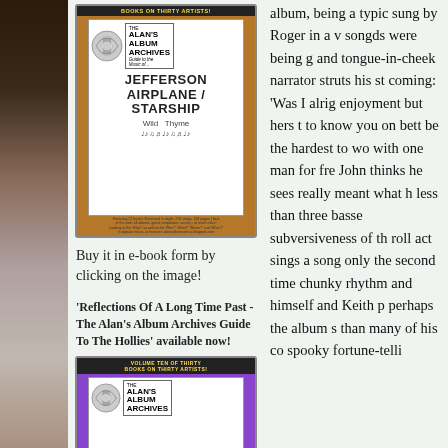[Figure (illustration): Left side decorative photo strip showing dark tree branches and bokeh background]
[Figure (illustration): Alan's Album Archives book cover for Jefferson Airplane / Starship in brown/gold color scheme]
Buy it in e-book form by clicking on the image!
'Reflections Of A Long Time Past - The Alan's Album Archives Guide To The Hollies' available now!
[Figure (illustration): Alan's Album Archives book cover Volume Ten in purple color scheme]
album, being a typic sung by Roger in a v songds were being g and tongue-in-cheek narrator struts his st coming: 'Was I alrig enjoyment but hers t to know you on bett be the hardest to wo with one man for fre John thinks he sees  really meant what h less than three basse subversiveness of th roll act sings a song only the second time chunky rhythm and  himself and Keith p perhaps the album s than many of his co spooky fortune-telli